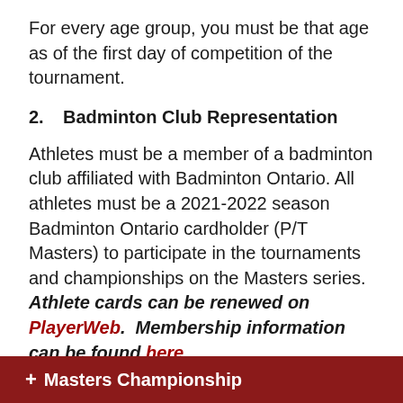For every age group, you must be that age as of the first day of competition of the tournament.
2.    Badminton Club Representation
Athletes must be a member of a badminton club affiliated with Badminton Ontario. All athletes must be a 2021-2022 season Badminton Ontario cardholder (P/T Masters) to participate in the tournaments and championships on the Masters series. Athlete cards can be renewed on PlayerWeb.  Membership information can be found here.
+ Masters Championship